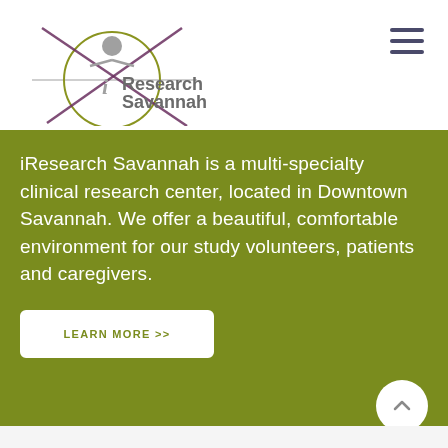[Figure (logo): iResearch Savannah logo: circular design with stylized figure and crosshairs, olive/gray color scheme with text 'iResearch Savannah']
iResearch Savannah is a multi-specialty clinical research center, located in Downtown Savannah. We offer a beautiful, comfortable environment for our study volunteers, patients and caregivers.
LEARN MORE >>